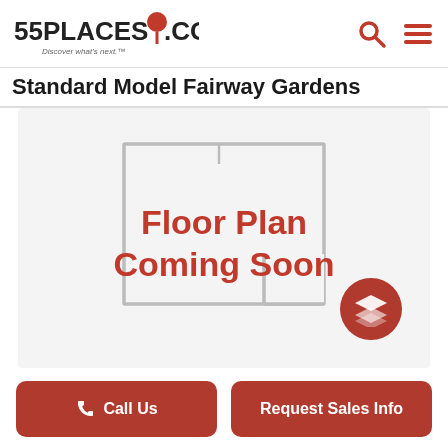55PLACES.COM — Discover what's next.
Standard Model Fairway Gardens
[Figure (other): Floor plan placeholder image showing a faint house floor plan outline (L-shaped) with the text 'Floor Plan Coming Soon' in bold red in the center, displayed on a light gray background.]
Call Us
Request Sales Info